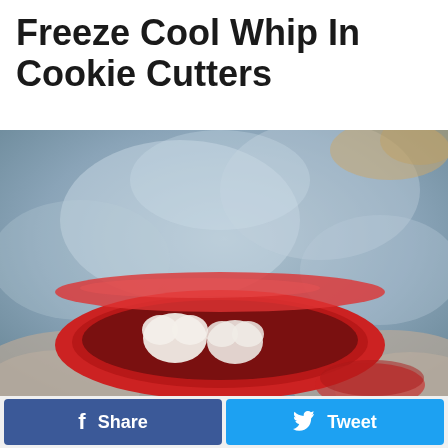Freeze Cool Whip In Cookie Cutters
[Figure (photo): A person holding a red bowl containing heart-shaped frozen Cool Whip pieces, with a blurry gray/blue textured background.]
Share
Tweet